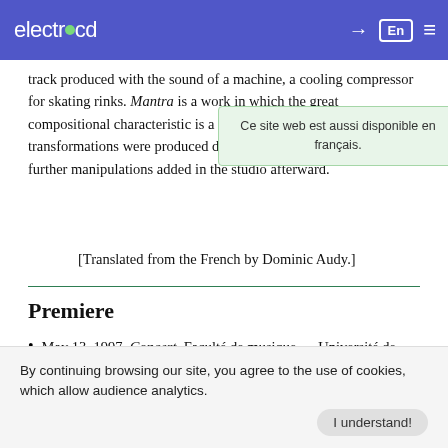electrocd [navigation header with En language toggle and menu]
track produced with the sound of a machine, a cooling compressor for skating rinks. Mantra is a work in which the great compositional characteristic is a unique sound take. All the timbal transformations were produced during the sound take, with no further manipulations added in the studio afterward.
[Translated from the French by Dominic Audy.]
Premiere
May 13, 1997, Concert, Faculté de musique — Université de Montréal, Montréal (Québec)
♫  Display work's page
Ce site web est aussi disponible en français.
By continuing browsing our site, you agree to the use of cookies, which allow audience analytics.